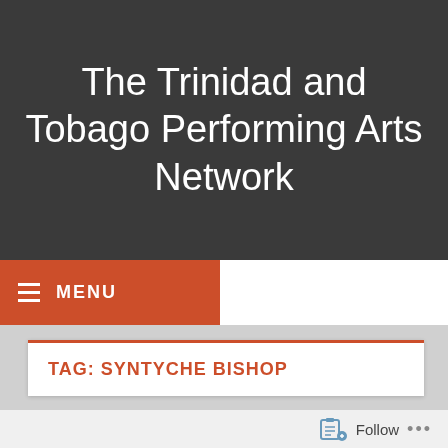The Trinidad and Tobago Performing Arts Network
MENU
TAG: SYNTYCHE BISHOP
[Figure (photo): Three performance photos: a female singer in dark outfit, a performer in elaborate headdress costume, and a female singer in colorful outfit with microphone]
Follow ...